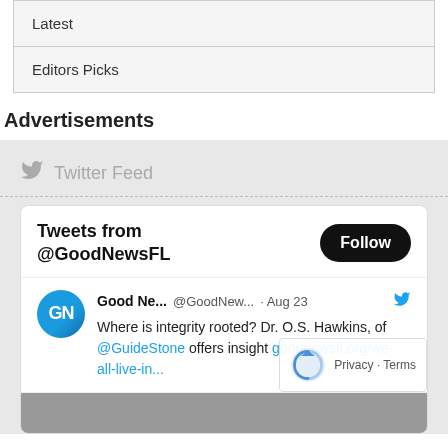| Latest |
| Editors Picks |
Advertisements
Twitter Feed
Tweets from @GoodNewsFL
Good Ne... @GoodNew... · Aug 23
Where is integrity rooted? Dr. O.S. Hawkins, of @GuideStone offers insight goodnewsfl.org/we-all-live-in...